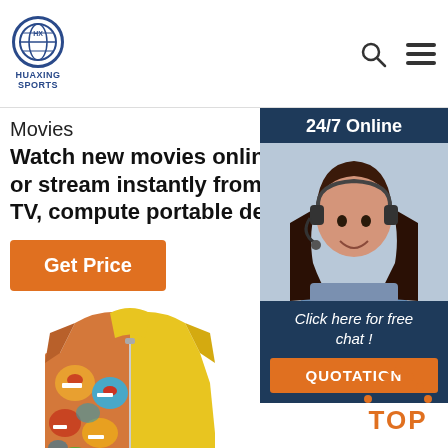HUAXING SPORTS
Movies
Watch new movies online. Download or stream instantly from your Smart TV, computer portable devices.
Get Price
24/7 Online
[Figure (photo): Customer service representative woman with headset smiling]
Click here for free chat !
QUOTATION
[Figure (photo): Yellow children's swim vest/life jacket with colorful cartoon print on one side and warning label]
TOP